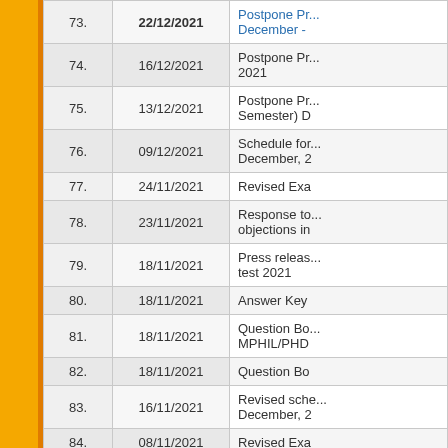| No. | Date | Title |
| --- | --- | --- |
| 73. | 22/12/2021 | Postpone Pr... December - |
| 74. | 16/12/2021 | Postpone Pr... 2021 |
| 75. | 13/12/2021 | Postpone Pr... Semester) D |
| 76. | 09/12/2021 | Schedule for... December, 2 |
| 77. | 24/11/2021 | Revised Exa |
| 78. | 23/11/2021 | Response to... objections in |
| 79. | 18/11/2021 | Press releas... test 2021 |
| 80. | 18/11/2021 | Answer Key |
| 81. | 18/11/2021 | Question Bo... MPHIL/PHD |
| 82. | 18/11/2021 | Question Bo |
| 83. | 16/11/2021 | Revised sche... December, 2 |
| 84. | 08/11/2021 | Revised Exa |
| 85. | 25/10/2021 | Schedule for |